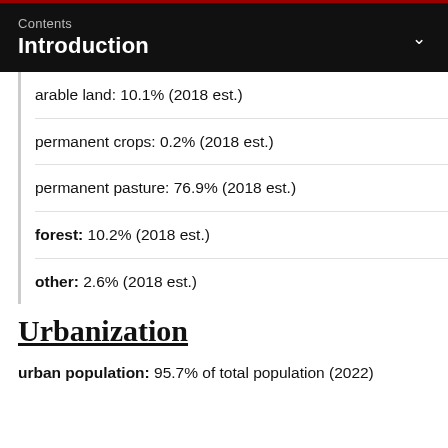Contents
Introduction
arable land: 10.1% (2018 est.)
permanent crops: 0.2% (2018 est.)
permanent pasture: 76.9% (2018 est.)
forest: 10.2% (2018 est.)
other: 2.6% (2018 est.)
Urbanization
urban population: 95.7% of total population (2022)